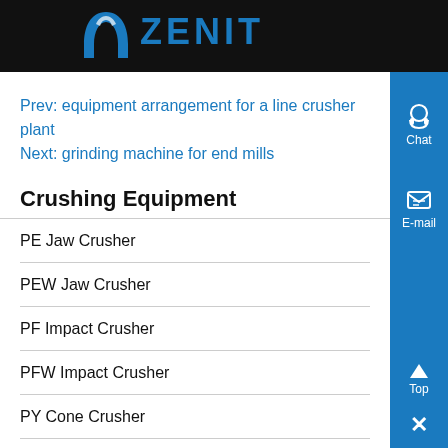[Figure (logo): Zenit company logo with blue arch symbol and ZENIT text on black header background]
Prev: equipment arrangement for a line crusher plant
Next: grinding machine for end mills
Crushing Equipment
PE Jaw Crusher
PEW Jaw Crusher
PF Impact Crusher
PFW Impact Crusher
PY Cone Crusher
HJ Series Jaw Crusher